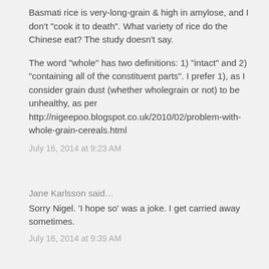Basmati rice is very-long-grain & high in amylose, and I don't "cook it to death". What variety of rice do the Chinese eat? The study doesn't say.
The word "whole" has two definitions: 1) "intact" and 2) "containing all of the constituent parts". I prefer 1), as I consider grain dust (whether wholegrain or not) to be unhealthy, as per http://nigeepoo.blogspot.co.uk/2010/02/problem-with-whole-grain-cereals.html
July 16, 2014 at 9:23 AM
Jane Karlsson said...
Sorry Nigel. 'I hope so' was a joke. I get carried away sometimes.
July 16, 2014 at 9:39 AM
Awful Will said...